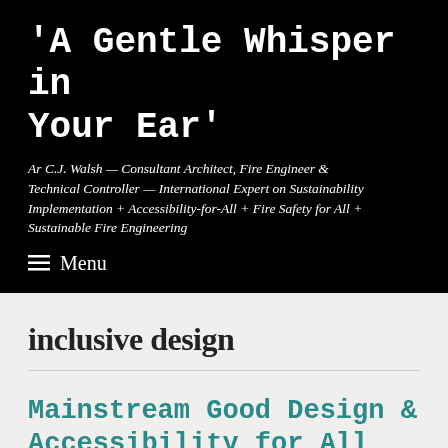'A Gentle Whisper in Your Ear'
Ar C.J. Walsh — Consultant Architect, Fire Engineer & Technical Controller — International Expert on Sustainability Implementation + Accessibility-for-All + Fire Safety for All + Sustainable Fire Engineering
≡  Menu
inclusive design
Mainstream Good Design & Accessibility for All Signage ?